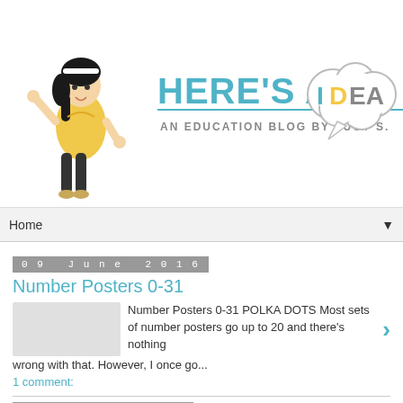[Figure (illustration): Blog header banner for 'Here's An IDEA – An Education Blog by Lucy S.' featuring a cartoon girl with dark hair in yellow jacket, the blog title in teal letters, and a cloud speech bubble with 'IDEA' text]
Home ▼
09 June 2016
Number Posters 0-31
Number Posters 0-31 POLKA DOTS Most sets of number posters go up to 20 and there's nothing wrong with that. However, I once go...
1 comment:
03 May 2015